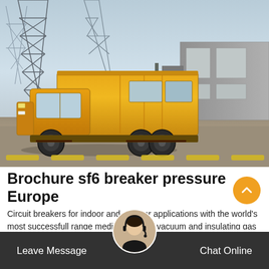[Figure (photo): An orange utility/transport truck parked in an industrial yard with large metal tower structures on the left and grey industrial buildings on the right. Dirt ground with yellow speed bumps in the foreground.]
Brochure sf6 breaker pressure Europe
Circuit breakers for indoor and outdoor applications with the world's most successfull range medium voltage vacuum and insulating gas gas. Across every market, ABB's circuit breakers